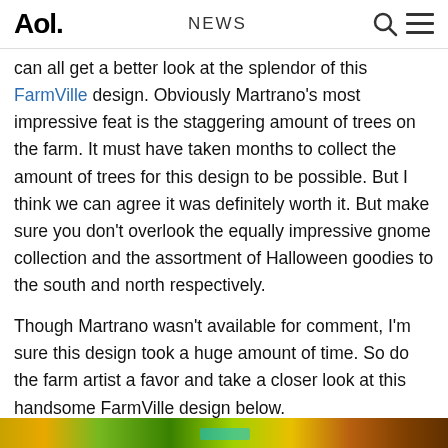Aol. | NEWS
can all get a better look at the splendor of this FarmVille design. Obviously Martrano's most impressive feat is the staggering amount of trees on the farm. It must have taken months to collect the amount of trees for this design to be possible. But I think we can agree it was definitely worth it. But make sure you don't overlook the equally impressive gnome collection and the assortment of Halloween goodies to the south and north respectively.
Though Martrano wasn't available for comment, I'm sure this design took a huge amount of time. So do the farm artist a favor and take a closer look at this handsome FarmVille design below.
Click the images to make them larger!
[Figure (photo): Colorful FarmVille farm design image shown as a strip at the bottom of the page]